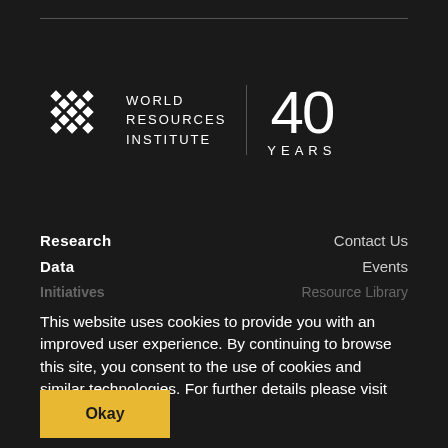[Figure (logo): World Resources Institute 40 Years logo with geometric diamond-pattern icon on dark background]
Research | Contact Us
Data | Events
Initiatives | Resource Library
Insights | Pressroom
Our Work | Financials
Careers
Internships
Africa | Privacy Policy
This website uses cookies to provide you with an improved user experience. By continuing to browse this site, you consent to the use of cookies and similar technologies. For further details please visit our privacy policy
Europe | International Websites
Latin America | WRIBrasil